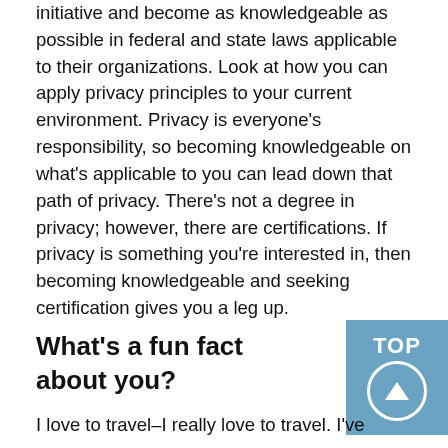initiative and become as knowledgeable as possible in federal and state laws applicable to their organizations. Look at how you can apply privacy principles to your current environment. Privacy is everyone's responsibility, so becoming knowledgeable on what's applicable to you can lead down that path of privacy. There's not a degree in privacy; however, there are certifications. If privacy is something you're interested in, then becoming knowledgeable and seeking certification gives you a leg up.
What's a fun fact about you?
I love to travel–I really love to travel. I've